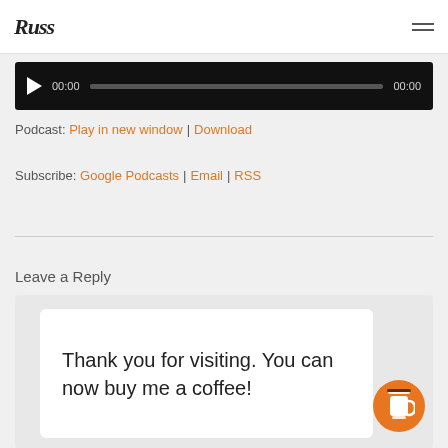Russ
[Figure (other): Audio player with play button, time display 00:00, progress bar, and end time 00:00 on black background]
Podcast: Play in new window | Download
Subscribe: Google Podcasts | Email | RSS
Leave a Reply
Thank you for visiting. You can now buy me a coffee!